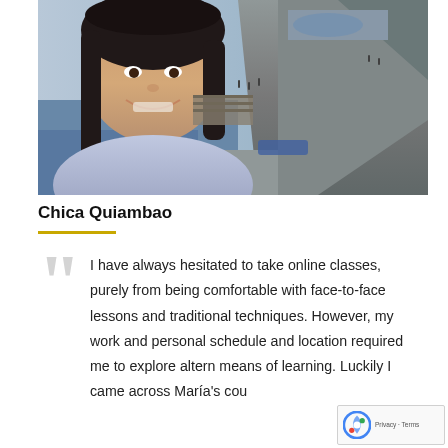[Figure (photo): Woman smiling in a selfie photo taken outdoors near rocky coastal cliffs with water visible in the background]
Chica Quiambao
I have always hesitated to take online classes, purely from being comfortable with face-to-face lessons and traditional techniques. However, my work and personal schedule and location required me to explore altern means of learning. Luckily I came across María's cou